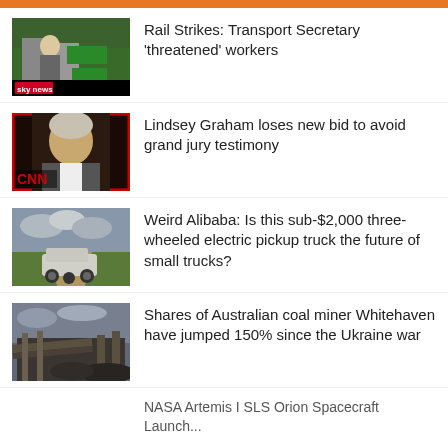[Figure (photo): News thumbnail showing reporter at rail strike protest with Sky News logo]
Rail Strikes: Transport Secretary 'threatened' workers
[Figure (photo): CNN news thumbnail showing Lindsey Graham with CNN logo overlay]
Lindsey Graham loses new bid to avoid grand jury testimony
[Figure (photo): Photo of three-wheeled electric truck on a dirt road with fields]
Weird Alibaba: Is this sub-$2,000 three-wheeled electric pickup truck the future of small trucks?
[Figure (photo): Photo of Australian coal mining facility]
Shares of Australian coal miner Whitehaven have jumped 150% since the Ukraine war
NASA Artemis I SLS Orion Spacecraft Launch...